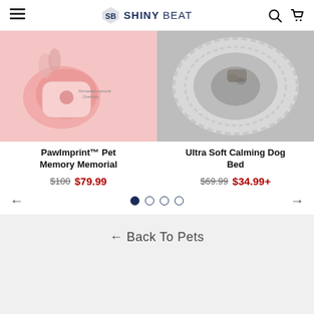SHINY BEAT
[Figure (photo): Pink pet paw imprint memory product on pink background with hands]
PawImprint™ Pet Memory Memorial
$100 $79.99
[Figure (photo): Gray fluffy round calming dog bed with cat inside]
Ultra Soft Calming Dog Bed
$69.99 $34.99+
← Back To Pets